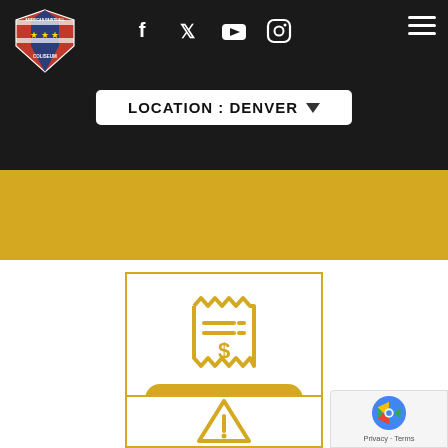[Figure (logo): American Paintball Coliseum logo — shield with stars and stripes]
[Figure (infographic): Social media icons: Facebook, Twitter, YouTube, Instagram in white on dark background]
LOCATION : DENVER ▼
[Figure (illustration): Yellow receipt/pricing icon with dollar sign]
CHECK PRICING
[Figure (illustration): Partial yellow icon visible at bottom of page]
[Figure (other): Google reCAPTCHA badge with Privacy and Terms links]